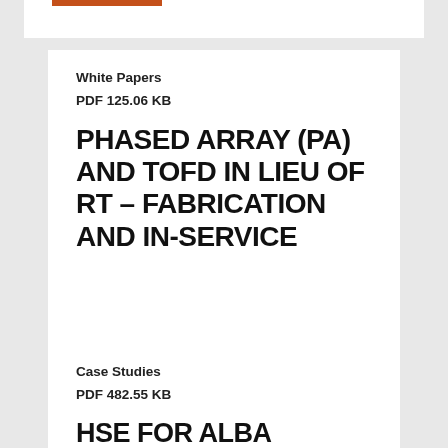White Papers
PDF 125.06 KB
PHASED ARRAY (PA) AND TOFD IN LIEU OF RT – FABRICATION AND IN-SERVICE
Case Studies
PDF 482.55 KB
HSE FOR ALBA SYNCHROTRON